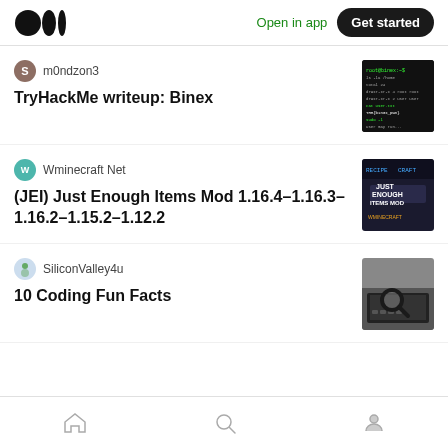Open in app | Get started
m0ndzon3
TryHackMe writeup: Binex
Wminecraft Net
(JEI) Just Enough Items Mod 1.16.4–1.16.3–1.16.2–1.15.2–1.12.2
SiliconValley4u
10 Coding Fun Facts